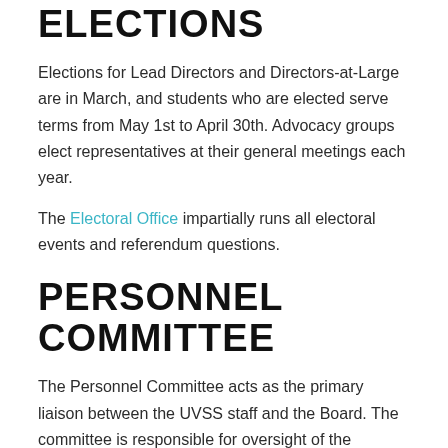ELECTIONS
Elections for Lead Directors and Directors-at-Large are in March, and students who are elected serve terms from May 1st to April 30th. Advocacy groups elect representatives at their general meetings each year.
The Electoral Office impartially runs all electoral events and referendum questions.
PERSONNEL COMMITTEE
The Personnel Committee acts as the primary liaison between the UVSS staff and the Board. The committee is responsible for oversight of the excluded managers, as well as the management of personnel issues such as the creation of unionized staff positions, the creation or elimination of excluded manager positions, and the restructuring or closing of departments. Personnel committee is made up of three to four elected directors, and is a closed, or confidential, committee.